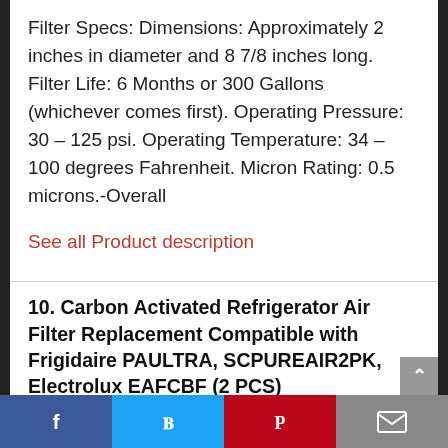Filter Specs: Dimensions: Approximately 2 inches in diameter and 8 7/8 inches long. Filter Life: 6 Months or 300 Gallons (whichever comes first). Operating Pressure: 30 – 125 psi. Operating Temperature: 34 – 100 degrees Fahrenheit. Micron Rating: 0.5 microns.-Overall
See all Product description
10. Carbon Activated Refrigerator Air Filter Replacement Compatible with Frigidaire PAULTRA, SCPUREAIR2PK, Electrolux EAFCBF (2 PCS)
[Figure (infographic): Social media share bar with Facebook, Twitter, Pinterest, and email icons]